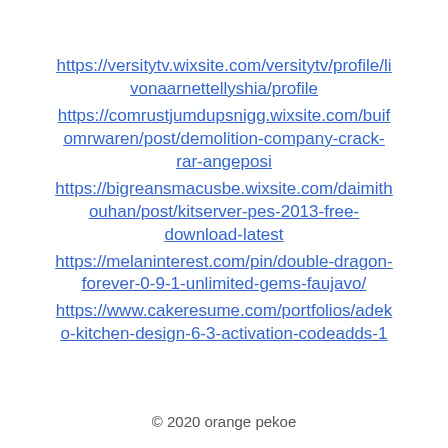https://versitytv.wixsite.com/versitytv/profile/livonaarnettellyshia/profile
https://comrustjumdupsnigg.wixsite.com/buifomrwaren/post/demolition-company-crack-rar-angeposi
https://bigreansmacusbe.wixsite.com/daimithouhan/post/kitserver-pes-2013-free-download-latest
https://melaninterest.com/pin/double-dragon-forever-0-9-1-unlimited-gems-faujavo/
https://www.cakeresume.com/portfolios/adeko-kitchen-design-6-3-activation-codeadds-1
© 2020 orange pekoe